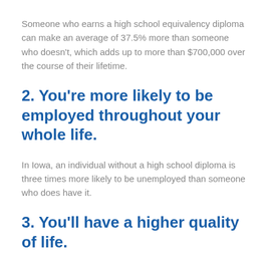Someone who earns a high school equivalency diploma can make an average of 37.5% more than someone who doesn't, which adds up to more than $700,000 over the course of their lifetime.
2. You're more likely to be employed throughout your whole life.
In Iowa, an individual without a high school diploma is three times more likely to be unemployed than someone who does have it.
3. You'll have a higher quality of life.